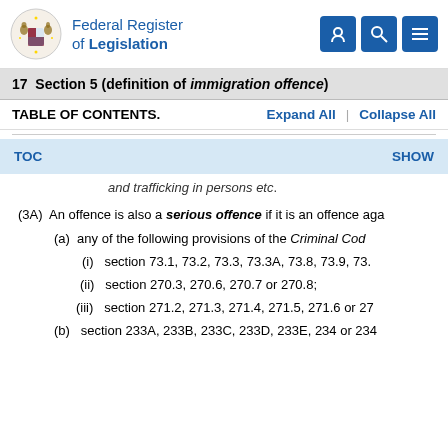Federal Register of Legislation
17  Section 5 (definition of immigration offence)
TABLE OF CONTENTS.    Expand All  |  Collapse All
TOC    SHOW
and trafficking in persons etc.
(3A)  An offence is also a serious offence if it is an offence aga
(a)  any of the following provisions of the Criminal Cod
(i)  section 73.1, 73.2, 73.3, 73.3A, 73.8, 73.9, 73.
(ii)  section 270.3, 270.6, 270.7 or 270.8;
(iii)  section 271.2, 271.3, 271.4, 271.5, 271.6 or 27
(b)  section 233A, 233B, 233C, 233D, 233E, 234 or 234